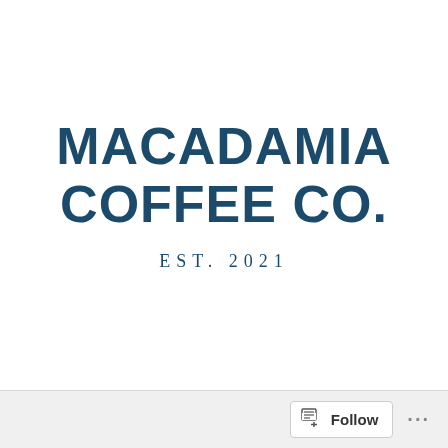[Figure (logo): Macadamia Coffee Co. logo with bold dark blue text reading 'MACADAMIA COFFEE CO.' and subtitle 'EST. 2021' in serif lettering, on white background]
Follow ···